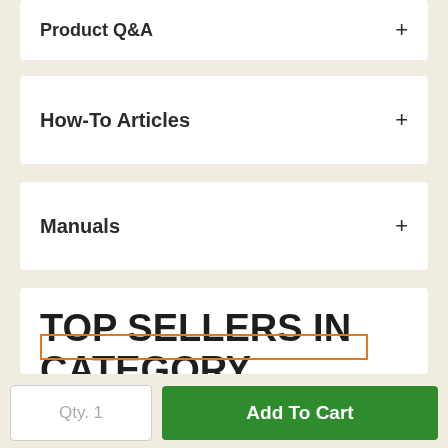Product Q&A
How-To Articles
Manuals
TOP SELLERS IN CATEGORY
Qty. 1
Add To Cart